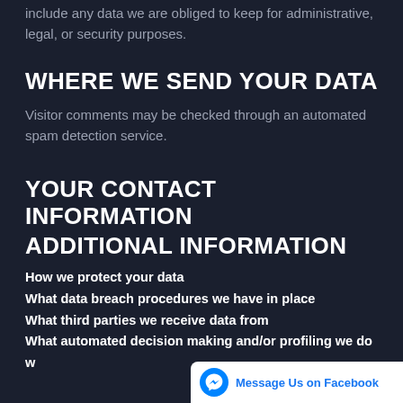include any data we are obliged to keep for administrative, legal, or security purposes.
WHERE WE SEND YOUR DATA
Visitor comments may be checked through an automated spam detection service.
YOUR CONTACT INFORMATION
ADDITIONAL INFORMATION
How we protect your data
What data breach procedures we have in place
What third parties we receive data from
What automated decision making and/or profiling we do w...
[Figure (screenshot): Facebook Messenger widget showing 'Message Us on Facebook' button with messenger icon]